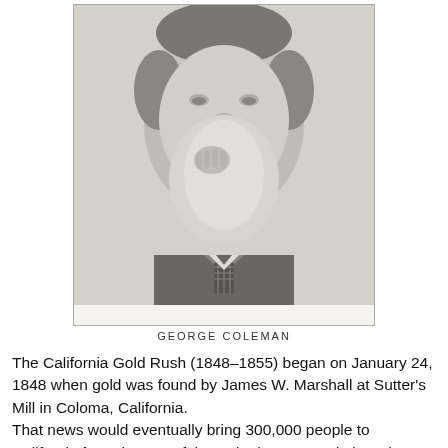[Figure (photo): Black and white portrait photograph of George Coleman, an older man with a full white beard, hand raised near his chin, wearing a suit with a checkered tie. Caption beneath reads 'GEORGE COLEMAN'.]
GEORGE COLEMAN
The California Gold Rush (1848–1855) began on January 24, 1848 when gold was found by James W. Marshall at Sutter's Mill in Coloma, California. That news would eventually bring 300,000 people to California from the rest of the United States and abroad—driving out the original 'Native Californians' and completely altering the landscape. Gold fever struck hard. 1850. The California gold rush was in full swing.